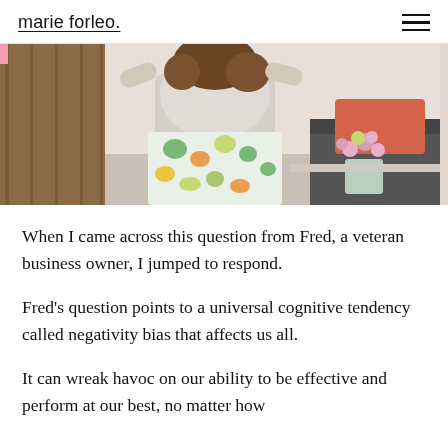marie forleo.
[Figure (photo): A woman in a white top and floral skirt sitting in a studio setting with a bouquet of pink flowers and a gray sofa in the background.]
When I came across this question from Fred, a veteran business owner, I jumped to respond.
Fred's question points to a universal cognitive tendency called negativity bias that affects us all.
It can wreak havoc on our ability to be effective and perform at our best, no matter how